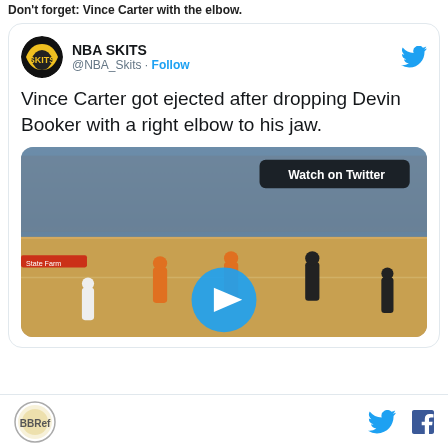Don't forget: Vince Carter with the elbow.
[Figure (screenshot): Embedded tweet from @NBA_Skits showing a video of Vince Carter's ejection after hitting Devin Booker with a right elbow. Tweet text: 'Vince Carter got ejected after dropping Devin Booker with a right elbow to his jaw.' Video thumbnail shows a basketball game with a play button overlay and 'Watch on Twitter' badge.]
Basketball reference logo, Twitter icon, Facebook icon